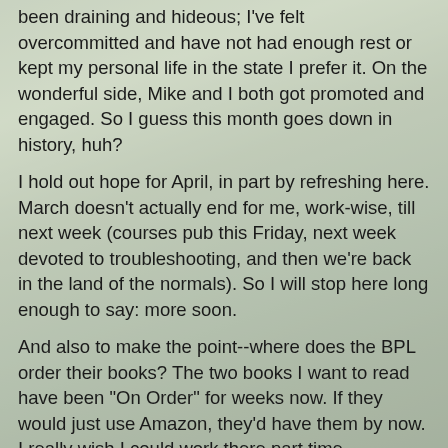been draining and hideous; I've felt overcommitted and have not had enough rest or kept my personal life in the state I prefer it. On the wonderful side, Mike and I both got promoted and engaged. So I guess this month goes down in history, huh?
I hold out hope for April, in part by refreshing here. March doesn't actually end for me, work-wise, till next week (courses pub this Friday, next week devoted to troubleshooting, and then we're back in the land of the normals). So I will stop here long enough to say: more soon.
And also to make the point--where does the BPL order their books? The two books I want to read have been "On Order" for weeks now. If they would just use Amazon, they'd have them by now. I really wish I could work there part time, processing new books or something tedious and refreshing like that. But they won't hire you unless you live in the city of Boston. What kind of a deal is that?
Updates I owe: Why I didn't finish Up the Down Staircase. How Mr. Wilson's Cabinet of Wonders reminded me of college. And, long overdue, What I thought of my first Jane...